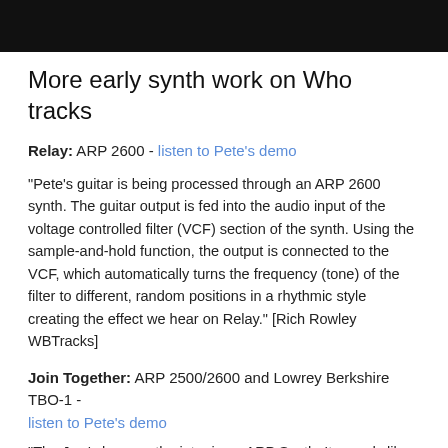[Figure (photo): Black bar image at top of page]
More early synth work on Who tracks
Relay: ARP 2600 - listen to Pete's demo
"Pete's guitar is being processed through an ARP 2600 synth. The guitar output is fed into the audio input of the voltage controlled filter (VCF) section of the synth. Using the sample-and-hold function, the output is connected to the VCF, which automatically turns the frequency (tone) of the filter to different, random positions in a rhythmic style creating the effect we hear on Relay." [Rich Rowley WBTracks]
Join Together: ARP 2500/2600 and Lowrey Berkshire TBO-1 - listen to Pete's demo
"The Jew's harp on the intro is an ARP Synth. It sounds like a four or eight bar loop that Pete built the rest of the song on. The organ part that comes in two bars before the vocals is interesting as it's the same setting as Baba O' Riley, only set to a much slower speed. The organ is also fed through a low-pass filter, which can be heard on the demo." [Rich Rowley WBTracks]